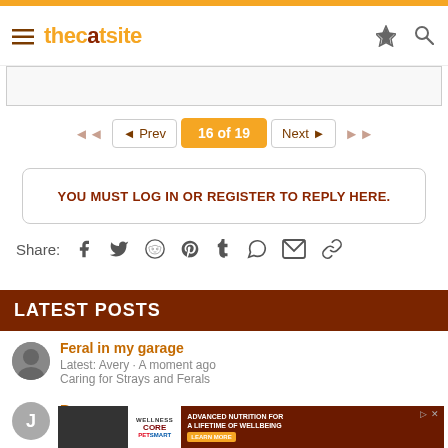thecatsite
◄◄  ◄ Prev  16 of 19  Next ►  ►►
YOU MUST LOG IN OR REGISTER TO REPLY HERE.
Share:
LATEST POSTS
Feral in my garage
Latest: Avery · A moment ago
Caring for Strays and Ferals
Br...
La...